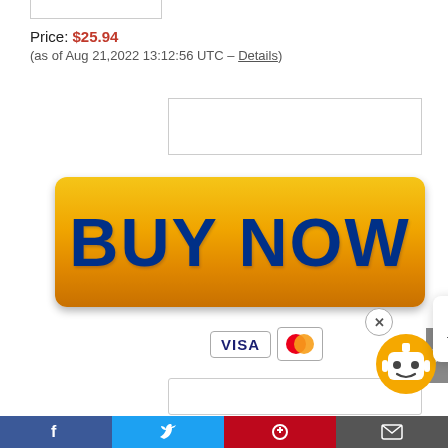Price: $25.94
(as of Aug 21,2022 13:12:56 UTC – Details)
[Figure (screenshot): BUY NOW button — large yellow-to-orange gradient button with dark blue bold text 'BUY NOW']
[Figure (screenshot): Payment method icons: VISA and Mastercard badges]
[Figure (screenshot): Chat popup with close X button and message 'Hi! Can I help plan your next trip?' with chatbot robot icon]
[Figure (screenshot): Social media footer bar with Facebook, Twitter, Pinterest, and envelope icons]